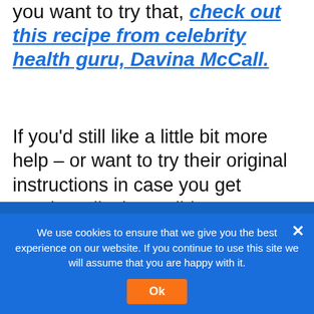you want to try that, check out this recipe from celebrity health guru, Davina McCall.
If you'd still like a little bit more help – or want to try their original instructions in case you get prettier rolls than I did, Clearspring have now put a Soba Sushi video on YouTube – check it out below for instructions from the absolute experts.
We use cookies to ensure that we give you the best experience on our website. If you continue to use this site we will assume that you are happy with it.